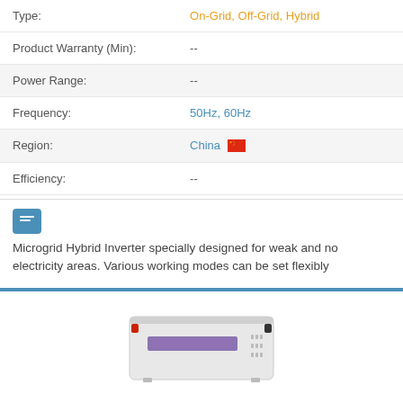| Field | Value |
| --- | --- |
| Type: | On-Grid, Off-Grid, Hybrid |
| Product Warranty (Min): | -- |
| Power Range: | -- |
| Frequency: | 50Hz, 60Hz |
| Region: | China |
| Efficiency: | -- |
[Figure (illustration): Chat/comment icon — blue rounded rectangle with white lines representing text]
Microgrid Hybrid Inverter specially designed for weak and no electricity areas. Various working modes can be set flexibly
[Figure (photo): Photo of a white rectangular power inverter device with purple/red accent connectors and labels]